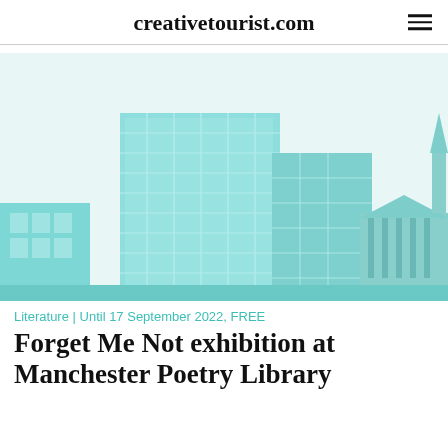creativetourist.com
[Figure (illustration): A teal/cyan-tinted architectural illustration of a modern glass office building in an urban setting, with other heritage buildings visible in the background]
Literature | Until 17 September 2022, FREE
Forget Me Not exhibition at Manchester Poetry Library